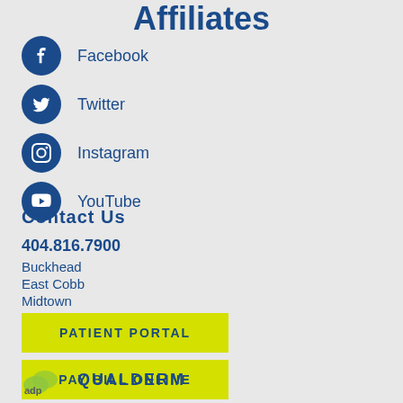Affiliates
Facebook
Twitter
Instagram
YouTube
Contact Us
404.816.7900
Buckhead
East Cobb
Midtown
PATIENT PORTAL
PAY BILL ONLINE
QUALDERM